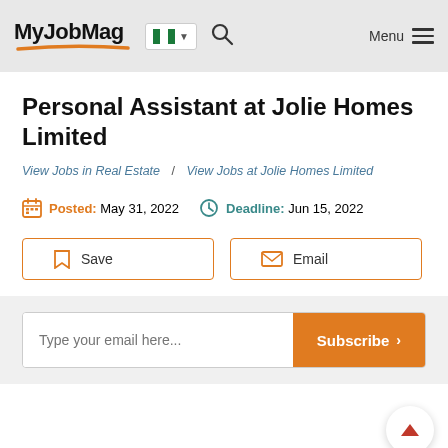MyJobMag
Personal Assistant at Jolie Homes Limited
View Jobs in Real Estate / View Jobs at Jolie Homes Limited
Posted: May 31, 2022   Deadline: Jun 15, 2022
Save   Email
Type your email here...   Subscribe